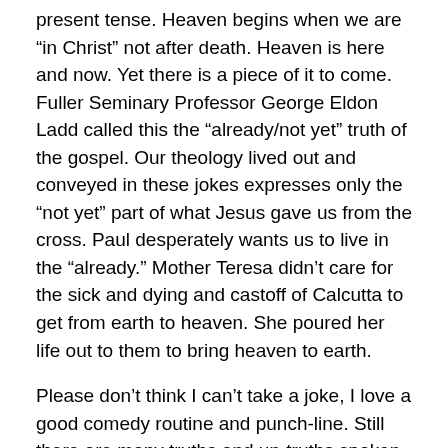present tense. Heaven begins when we are “in Christ” not after death. Heaven is here and now. Yet there is a piece of it to come. Fuller Seminary Professor George Eldon Ladd called this the “already/not yet” truth of the gospel. Our theology lived out and conveyed in these jokes expresses only the “not yet” part of what Jesus gave us from the cross. Paul desperately wants us to live in the “already.” Mother Teresa didn’t care for the sick and dying and castoff of Calcutta to get from earth to heaven. She poured her life out to them to bring heaven to earth.
Please don’t think I can’t take a joke, I love a good comedy routine and punch-line. Still there are many truths and un-truths spoken in jest. We can laugh at both, but eternity may hang in knowing the difference.
Which passage spoke most to you?